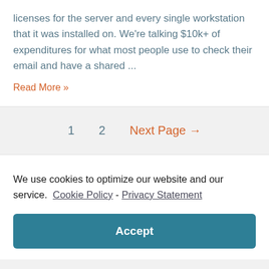licenses for the server and every single workstation that it was installed on. We're talking $10k+ of expenditures for what most people use to check their email and have a shared ...
Read More »
1   2   Next Page →
We use cookies to optimize our website and our service.  Cookie Policy - Privacy Statement
Accept
...